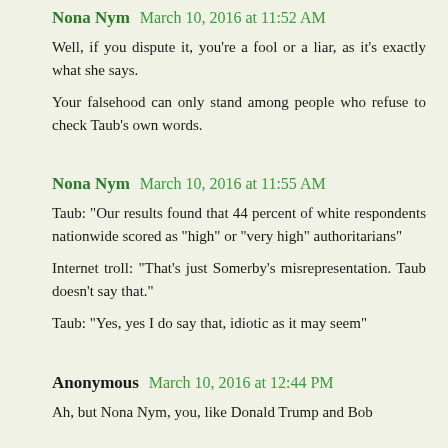Nona Nym  March 10, 2016 at 11:52 AM
Well, if you dispute it, you're a fool or a liar, as it's exactly what she says.
Your falsehood can only stand among people who refuse to check Taub's own words.
Nona Nym  March 10, 2016 at 11:55 AM
Taub: "Our results found that 44 percent of white respondents nationwide scored as "high" or "very high" authoritarians"
Internet troll: "That's just Somerby's misrepresentation. Taub doesn't say that."
Taub: "Yes, yes I do say that, idiotic as it may seem"
Anonymous  March 10, 2016 at 12:44 PM
Ah, but Nona Nym, you, like Donald Trump and Bob